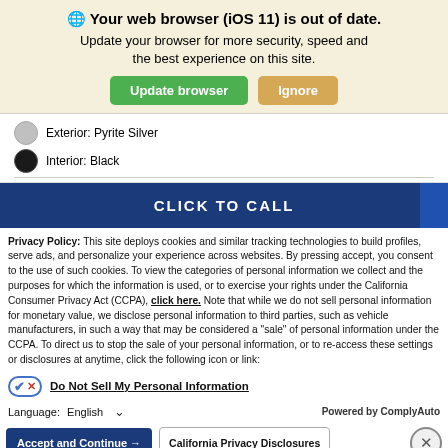🌐 Your web browser (iOS 11) is out of date.
Update your browser for more security, speed and the best experience on this site.
Exterior: Pyrite Silver
Interior: Black
CLICK TO CALL
Privacy Policy: This site deploys cookies and similar tracking technologies to build profiles, serve ads, and personalize your experience across websites. By pressing accept, you consent to the use of such cookies. To view the categories of personal information we collect and the purposes for which the information is used, or to exercise your rights under the California Consumer Privacy Act (CCPA), click here. Note that while we do not sell personal information for monetary value, we disclose personal information to third parties, such as vehicle manufacturers, in such a way that may be considered a "sale" of personal information under the CCPA. To direct us to stop the sale of your personal information, or to re-access these settings or disclosures at anytime, click the following icon or link:
Do Not Sell My Personal Information
Language: English
Powered by ComplyAuto
Accept and Continue →
California Privacy Disclosures